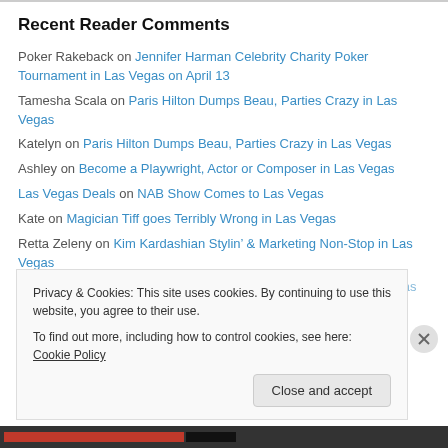Recent Reader Comments
Poker Rakeback on Jennifer Harman Celebrity Charity Poker Tournament in Las Vegas on April 13
Tamesha Scala on Paris Hilton Dumps Beau, Parties Crazy in Las Vegas
Katelyn on Paris Hilton Dumps Beau, Parties Crazy in Las Vegas
Ashley on Become a Playwright, Actor or Composer in Las Vegas
Las Vegas Deals on NAB Show Comes to Las Vegas
Kate on Magician Tiff goes Terribly Wrong in Las Vegas
Retta Zeleny on Kim Kardashian Stylin’ & Marketing Non-Stop in Las Vegas
Daniel Becker on Consumer Electronics Show (CES) Kicks Off in Las...
Privacy & Cookies: This site uses cookies. By continuing to use this website, you agree to their use.
To find out more, including how to control cookies, see here: Cookie Policy